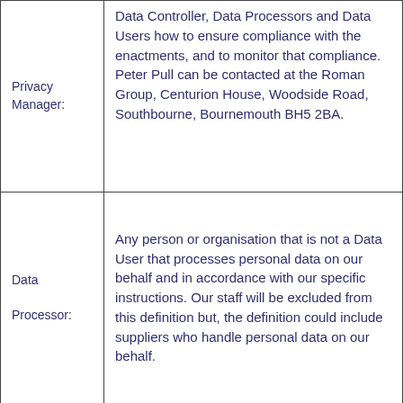| Term | Definition |
| --- | --- |
| Privacy Manager: | Data Controller, Data Processors and Data Users how to ensure compliance with the enactments, and to monitor that compliance. Peter Pull can be contacted at the Roman Group, Centurion House, Woodside Road, Southbourne, Bournemouth BH5 2BA. |
| Data Processor: | Any person or organisation that is not a Data User that processes personal data on our behalf and in accordance with our specific instructions. Our staff will be excluded from this definition but, the definition could include suppliers who handle personal data on our behalf. |